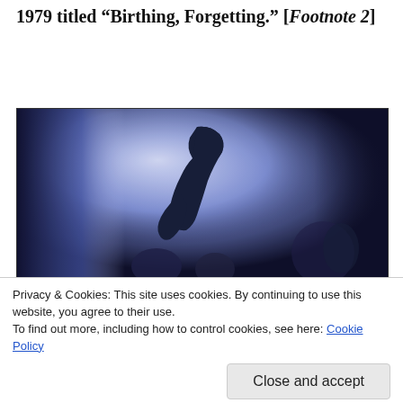1979 titled “Birthing, Forgetting.” [ Footnote 2 ]
[Figure (photo): Blurry, high-contrast blue-toned photograph of a person’s silhouette, appearing to bow or lean forward, with other blurred figures in the background. The image has a dark, cinematic mood.]
Privacy & Cookies: This site uses cookies. By continuing to use this website, you agree to their use.
To find out more, including how to control cookies, see here: Cookie Policy